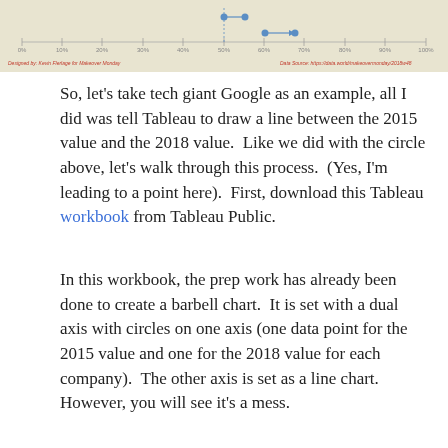[Figure (other): Partial barbell chart strip showing dot-and-line markers on an axis scale from approximately 0% to 100%. Two barbell markers visible near the center-right area. Bottom footer text: 'Designed by: Kevin Flerlage for Makeover Monday' on left and 'Data Source: https://data.world/makeovermonday/2018w48' on right.]
So, let's take tech giant Google as an example, all I did was tell Tableau to draw a line between the 2015 value and the 2018 value.  Like we did with the circle above, let's walk through this process.  (Yes, I'm leading to a point here).  First, download this Tableau workbook from Tableau Public.
In this workbook, the prep work has already been done to create a barbell chart.  It is set with a dual axis with circles on one axis (one data point for the 2015 value and one for the 2018 value for each company).  The other axis is set as a line chart.  However, you will see it's a mess.